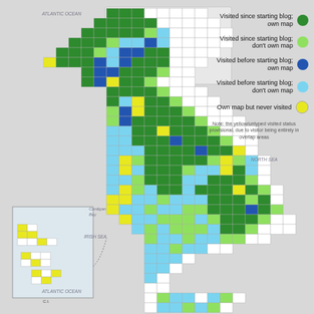[Figure (map): A choropleth map of Great Britain showing Ordnance Survey map coverage and visit status for each map area. Regions are colored in dark green (visited since starting blog; own map), light green (visited since starting blog; don't own map), dark blue (visited before starting blog; own map), light blue (visited before starting blog; don't own map), yellow (own map but never visited), and white (not visited, no map). An inset map in the lower left shows island areas off the west coast of Scotland. Ocean labels for Atlantic Ocean, North Sea, Irish Sea, and Cardigan Bay are shown. Each map square is labeled with an OS map number.]
Visited since starting blog; own map
Visited since starting blog; don't own map
Visited before starting blog; own map
Visited before starting blog; don't own map
Own map but never visited
Note: the yellow/untyped visited status provisional, due to visitor being entirely in overlap areas